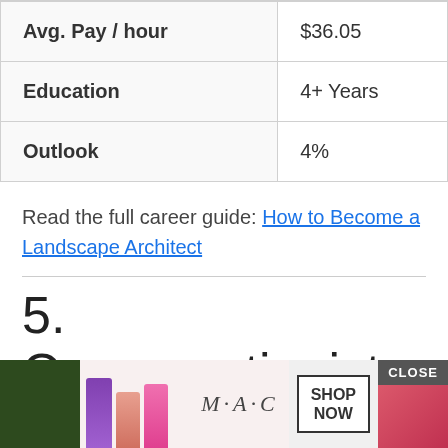| Avg. Pay / hour | $36.05 |
| Education | 4+ Years |
| Outlook | 4% |
Read the full career guide: How to Become a Landscape Architect
5. Conservationist
[Figure (other): Advertisement banner for MAC cosmetics showing lipsticks and a SHOP NOW button with a CLOSE button]